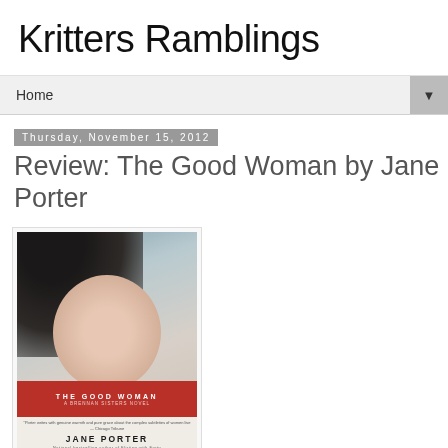Kritters Ramblings
Home
Thursday, November 15, 2012
Review: The Good Woman by Jane Porter
[Figure (photo): Book cover of The Good Woman by Jane Porter showing a woman with dark hair, red band with title text, and author name at the bottom]
The Good Woman by Jane Porter